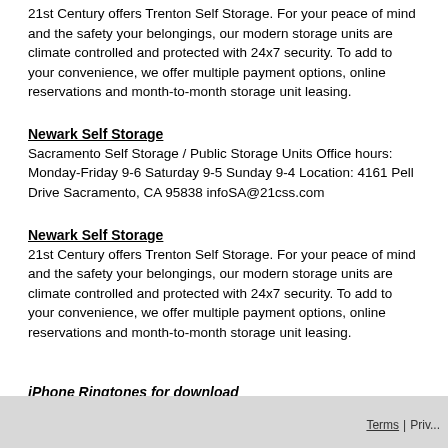21st Century offers Trenton Self Storage. For your peace of mind and the safety your belongings, our modern storage units are climate controlled and protected with 24x7 security. To add to your convenience, we offer multiple payment options, online reservations and month-to-month storage unit leasing.
Newark Self Storage
Sacramento Self Storage / Public Storage Units Office hours: Monday-Friday 9-6 Saturday 9-5 Sunday 9-4 Location: 4161 Pell Drive Sacramento, CA 95838 infoSA@21css.com
Newark Self Storage
21st Century offers Trenton Self Storage. For your peace of mind and the safety your belongings, our modern storage units are climate controlled and protected with 24x7 security. To add to your convenience, we offer multiple payment options, online reservations and month-to-month storage unit leasing.
iPhone Ringtones for download
Terms | Priv...